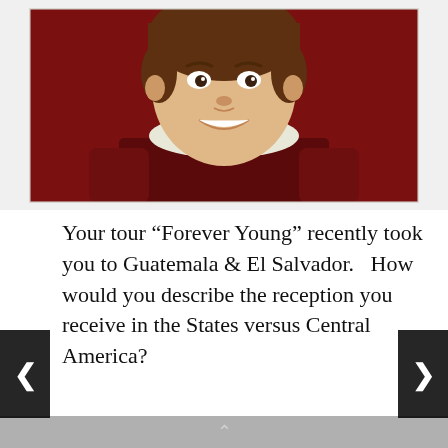[Figure (photo): School photo of a smiling young boy wearing a dark red/maroon jersey with a white collar, set against a dark red background. The image appears to be a vintage school portrait.]
Your tour “Forever Young” recently took you to Guatemala & El Salvador.   How would you describe the reception you receive in the States versus Central America?